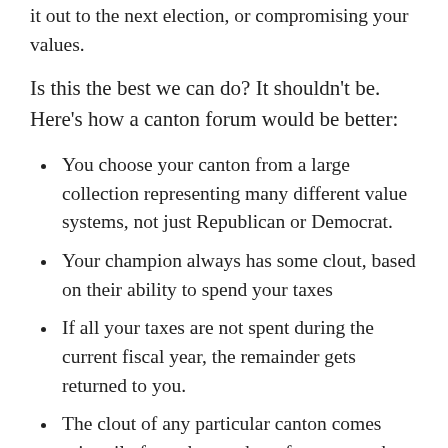it out to the next election, or compromising your values.
Is this the best we can do? It shouldn't be. Here's how a canton forum would be better:
You choose your canton from a large collection representing many different value systems, not just Republican or Democrat.
Your champion always has some clout, based on their ability to spend your taxes
If all your taxes are not spent during the current fiscal year, the remainder gets returned to you.
The clout of any particular canton comes primarily from the number of taxpayers they represent. Therefore, cantons are always in competition for taxpayers. They compete by 1) doing what their members expect of them, 2)